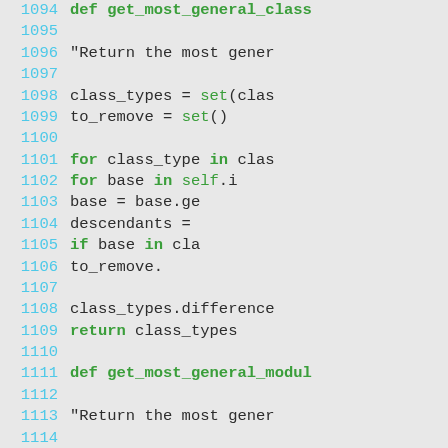[Figure (screenshot): Python source code viewer showing lines 1094–1123 with line numbers in cyan, keywords in bold green, and comments in gray on a light gray background.]